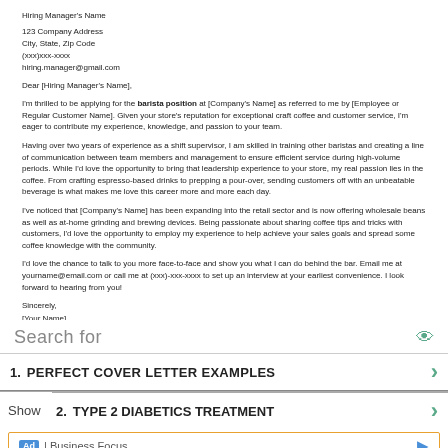Hiring Manager's Name
123 Company Address
City, State, Zip Code
(xxx)xxx-xxxx
hiring.manager@gmail.com
Dear [Hiring Manager's Name],
I'm thrilled to be applying for the barista position at [Company's Name] as referred to me by [Employee or Regular Customer Name]. Given your store's reputation for exceptional craft coffee and customer service, I'm eager to contribute my experience, knowledge, and passion to your team.
Having over two years of experience as a shift supervisor, I am skilled in training other baristas and creating a line of communication between team members and management to ensure efficient service during high-volume periods. While I'd love the opportunity to bring that leadership experience to your store, my real passion lies in the coffee. From crafting espresso-based drinks to prepping a pour-over, sending customers off with an unbeatable beverage is what makes me love this career more and more each day.
I've noticed that [Company's Name] has been expanding into the retail sector and is now offering wholesale beans as well as at-home grinding and brewing devices. Being passionate about sharing coffee tips and tricks with customers, I'd love the opportunity to employ my experience to help achieve your sales goals and spread some coffee knowledge with the community.
I'd love the chance to talk to you more face-to-face and show you what I can do behind the bar. Email me at yourname@email.com or call me at (xxx)-xxx-xxxx to set up an interview at your earliest convenience. I look forward to hearing from you!
Sincerely,
[Your Name]
Search for
1.  PERFECT COVER LETTER EXAMPLES
Show
2.  TYPE 2 DIABETICS TREATMENT
Ad | Business Focus